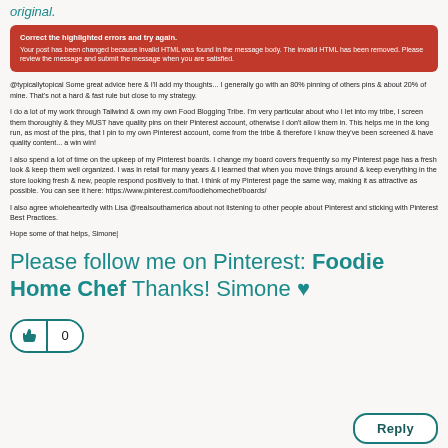original.
Correct the highlighted errors and try again.
Your post has been changed because invalid HTML was found in the message body. The invalid HTML has been removed. Please review the message and submit the message when you are satisfied.
@typicallytopical Some great advice here & I'll add my thoughts... I generally go with an 80% pinning of others pins & about 20% of mine. That's not a hard & fast rule but close to my strategy.
I do a lot of my work through Tailwind & own my own Food Blogging Tribe. I'm very particular about who I let into my tribe, I screen them thoroughly & they MUST have quality pins on their Pinterest account, otherwise I don't allow them in. This helps me in the long run, as most of the pins, that I pin to my own Pinterest account, come from the tribe & therefore I know they've been screened & have quality content... a win win!
I also spend a lot of time on the upkeep of my Pinterest boards. I change my board covers frequently so my Pinterest page has a fresh look & keep them well organized. I was in retail for many years & I learned that when you move things around & keep everything in the store looking fresh & new, people respond positively to that. I think of my Pinterest page the same way, making it as attractive as possible. You can see it here: https://www.pinterest.com/foodiehomechef/boards/
I also agree wholeheartedly with Lisa @realsouthamerica about not listening to other people about Pinterest and sticking with Pinterest Best Practices.
Hope some of that helps, Simone|
Please follow me on Pinterest: Foodie Home Chef Thanks! Simone ♥
[Figure (other): Like button with thumbs up icon and count of 0]
Reply